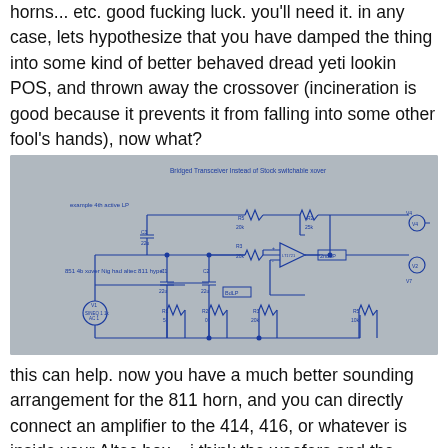horns... etc. good fucking luck. you'll need it. in any case, lets hypothesize that you have damped the thing into some kind of better behaved dread yeti lookin POS, and thrown away the crossover (incineration is good because it prevents it from falling into some other fool's hands), now what?
[Figure (circuit-diagram): Bridged Crossover circuit diagram showing active LP filter with op-amp (LT1721), resistors (R1-R5, 20k), capacitors (C1-C2, 22u), and connected speaker/driver outputs. Labels include 'Bridged Transceiver Instead of Stock switchable xover', 'example 4th active LP', and '851 4b xover Nig had altec 811 hype'. Signal source labeled V1 SINEQ 1 1k AC 1.]
this can help. now you have a much better sounding arrangement for the 811 horn, and you can directly connect an amplifier to the 414, 416, or whatever is inside your Altec box... i think the woofers and the compression drivers will need some additional tiny coils to tame breakup modes and ripple... but that